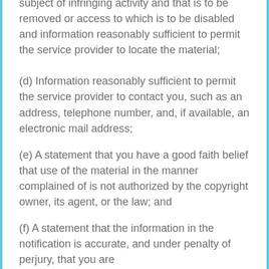subject of infringing activity and that is to be removed or access to which is to be disabled and information reasonably sufficient to permit the service provider to locate the material;
(d) Information reasonably sufficient to permit the service provider to contact you, such as an address, telephone number, and, if available, an electronic mail address;
(e) A statement that you have a good faith belief that use of the material in the manner complained of is not authorized by the copyright owner, its agent, or the law; and
(f) A statement that the information in the notification is accurate, and under penalty of perjury, that you are